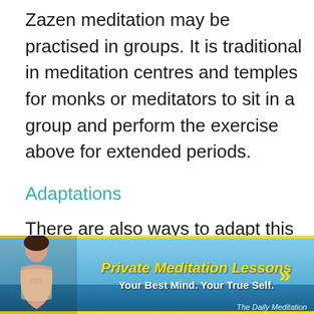Zazen meditation may be practised in groups. It is traditional in meditation centres and temples for monks or meditators to sit in a group and perform the exercise above for extended periods.
Adaptations
There are also ways to adapt this method. For instance, Shikantaza (“Silent Illumination” or “Serene Reflection”) is a
[Figure (infographic): Advertisement banner for Private Meditation Lessons with a woman meditating on left, yellow bold text 'Private Meditation Lessons', white text 'Your Best Mind. Your True Self.', yellow double-chevron arrow on right, and 'The Daily Meditation' watermark.]